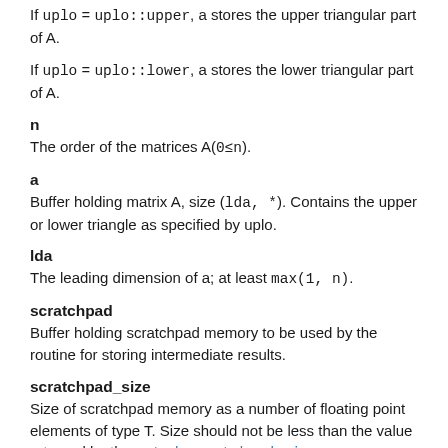If uplo = uplo::upper, a stores the upper triangular part of A.
If uplo = uplo::lower, a stores the lower triangular part of A.
n
The order of the matrices A(0≤n).
a
Buffer holding matrix A, size (lda, *). Contains the upper or lower triangle as specified by uplo.
lda
The leading dimension of a; at least max(1, n).
scratchpad
Buffer holding scratchpad memory to be used by the routine for storing intermediate results.
scratchpad_size
Size of scratchpad memory as a number of floating point elements of type T. Size should not be less than the value returned by the sytrd_scratchpad_size function.